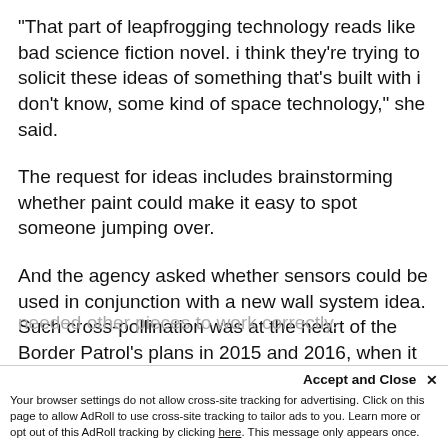"That part of leapfrogging technology reads like bad science fiction novel. i think they're trying to solicit these ideas of something that's built with i don't know, some kind of space technology," she said.
The request for ideas includes brainstorming whether paint could make it easy to spot someone jumping over.
And the agency asked whether sensors could be used in conjunction with a new wall system idea. Such cross-pollination was at the heart of the Border Patrol's plans in 2015 and 2016, when it focused on a message that the border wall was only one kind of barrier that
needed other pieces to work correctly.
Accept and Close ×
Your browser settings do not allow cross-site tracking for advertising. Click on this page to allow AdRoll to use cross-site tracking to tailor ads to you. Learn more or opt out of this AdRoll tracking by clicking here. This message only appears once.